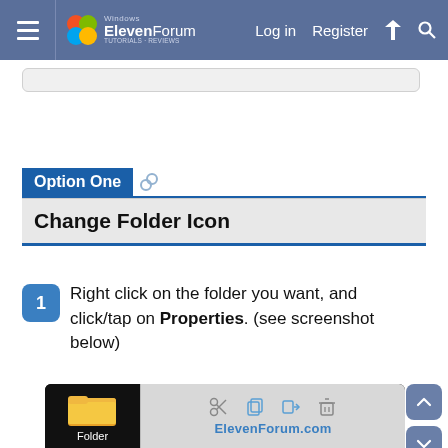Windows ElevenForum | Log in | Register
Option One
Change Folder Icon
1  Right click on the folder you want, and click/tap on Properties. (see screenshot below)
[Figure (screenshot): Screenshot showing a folder with a context menu open, displaying icons for cut, copy, paste, delete operations, with ElevenForum.com watermark]